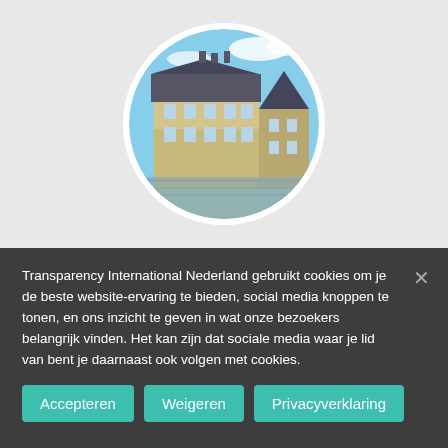[Figure (photo): Circular photo of a Dutch historic building (Mauritshuis / Binnenhof area in The Hague) reflected in water, with blue sky, set against a light grey background.]
Transparency International Nederland gebruikt cookies om je de beste website-ervaring te bieden, social media knoppen te tonen, en ons inzicht te geven in wat onze bezoekers belangrijk vinden. Het kan zijn dat sociale media waar je lid van bent je daarnaast ook volgen met cookies.
Accepteren
Weigeren
Privacyverklaring